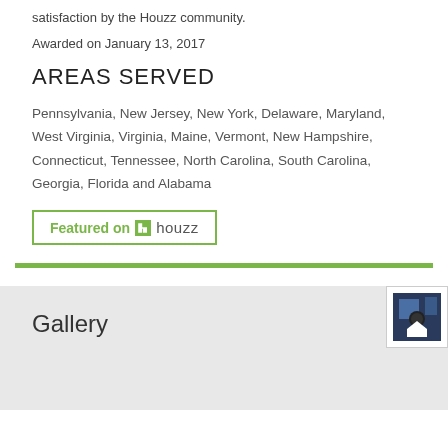satisfaction by the Houzz community.
Awarded on January 13, 2017
AREAS SERVED
Pennsylvania, New Jersey, New York, Delaware, Maryland, West Virginia, Virginia, Maine, Vermont, New Hampshire, Connecticut, Tennessee, North Carolina, South Carolina, Georgia, Florida and Alabama
[Figure (logo): Featured on Houzz badge with green border and Houzz logo]
Gallery